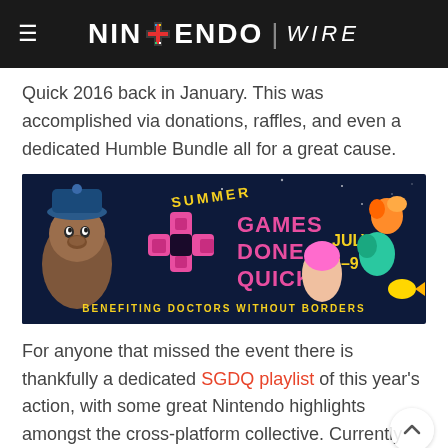NINTENDO WIRE
Quick 2016 back in January. This was accomplished via donations, raffles, and even a dedicated Humble Bundle all for a great cause.
[Figure (illustration): Summer Games Done Quick banner: pink logo with game controller, 'GAMES DONE QUICK JULY 3-9 BENEFITING DOCTORS WITHOUT BORDERS', cartoon characters on dark starry background]
For anyone that missed the event there is thankfully a dedicated SGDQ playlist of this year's action, with some great Nintendo highlights amongst the cross-platform collective. Currently addicted to Pokémon Go? They've got runs through the Game Boy originals. Still haven't